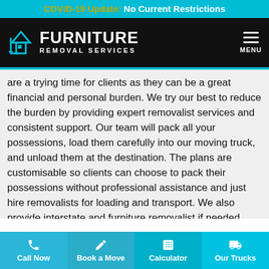COVID-19 Update: No Current Restrictions
[Figure (logo): Furniture Removal Services logo with house/key icon on black navigation bar with MENU button]
are a trying time for clients as they can be a great financial and personal burden. We try our best to reduce the burden by providing expert removalist services and consistent support. Our team will pack all your possessions, load them carefully into our moving truck, and unload them at the destination. The plans are customisable so clients can choose to pack their possessions without professional assistance and just hire removalists for loading and transport. We also provide interstate and furniture removalist if needed.
– Best removalist in Elanora for commercial – Commercial removals are usually time-sensitive and require expert
Call Now | Book a Move | Calculator | Our Trucks